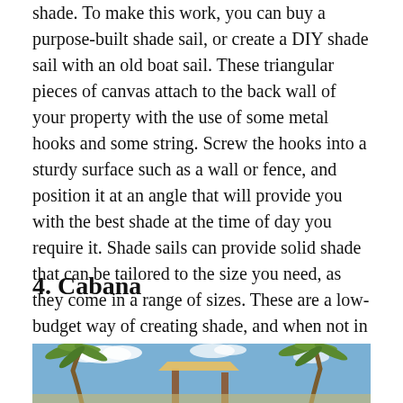shade. To make this work, you can buy a purpose-built shade sail, or create a DIY shade sail with an old boat sail. These triangular pieces of canvas attach to the back wall of your property with the use of some metal hooks and some string. Screw the hooks into a sturdy surface such as a wall or fence, and position it at an angle that will provide you with the best shade at the time of day you require it. Shade sails can provide solid shade that can be tailored to the size you need, as they come in a range of sizes. These are a low-budget way of creating shade, and when not in use, you can simply roll them up and store them in the garage or a storage cupboard.
4. Cabana
[Figure (photo): Tropical scene with palm trees and a cabana structure under a blue sky]